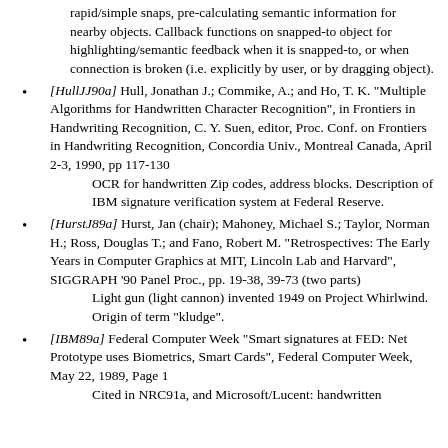rapid/simple snaps, pre-calculating semantic information for nearby objects. Callback functions on snapped-to object for highlighting/semantic feedback when it is snapped-to, or when connection is broken (i.e. explicitly by user, or by dragging object).
[HullJJ90a] Hull, Jonathan J.; Commike, A.; and Ho, T. K. "Multiple Algorithms for Handwritten Character Recognition", in Frontiers in Handwriting Recognition, C. Y. Suen, editor, Proc. Conf. on Frontiers in Handwriting Recognition, Concordia Univ., Montreal Canada, April 2-3, 1990, pp 117-130
    OCR for handwritten Zip codes, address blocks. Description of IBM signature verification system at Federal Reserve.
[HurstJ89a] Hurst, Jan (chair); Mahoney, Michael S.; Taylor, Norman H.; Ross, Douglas T.; and Fano, Robert M. "Retrospectives: The Early Years in Computer Graphics at MIT, Lincoln Lab and Harvard", SIGGRAPH '90 Panel Proc., pp. 19-38, 39-73 (two parts)
    Light gun (light cannon) invented 1949 on Project Whirlwind. Origin of term "kludge".
[IBM89a] Federal Computer Week "Smart signatures at FED: Net Prototype uses Biometrics, Smart Cards", Federal Computer Week, May 22, 1989, Page 1
    Cited in NRC91a, and Microsoft/Lucent: handwritten